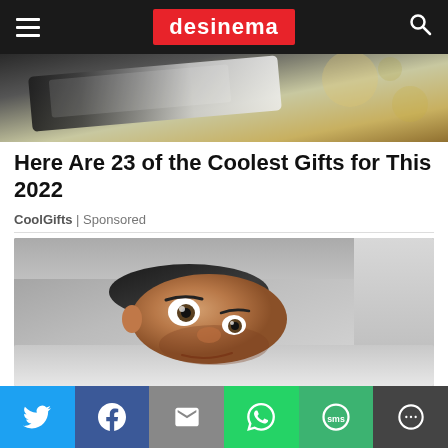desinema
[Figure (photo): Top portion of a device/phone photograph, partially cropped]
Here Are 23 of the Coolest Gifts for This 2022
CoolGifts | Sponsored
[Figure (photo): Man peeking from under a blanket/pillow with wide surprised eyes]
Social share bar: Twitter, Facebook, Email, WhatsApp, SMS, More